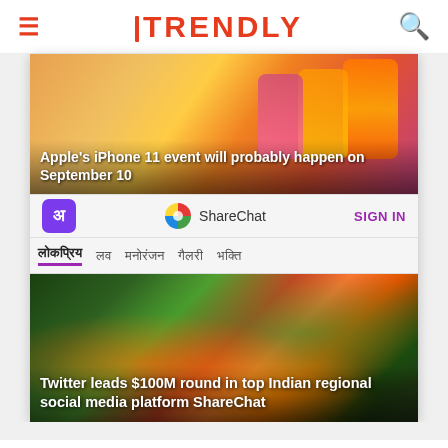TRENDLY
[Figure (screenshot): Article card showing iPhones with orange background. Headline overlay: Apple's iPhone 11 event will probably happen on September 10]
Apple's iPhone 11 event will probably happen on September 10
[Figure (screenshot): ShareChat app interface showing logo, SIGN IN button, and navigation tabs: लोकप्रिय, लव, मनोरंजन, गैलरी, भक्ति]
[Figure (screenshot): Article card with flowers and greenery background. Headline: Twitter leads $100M round in top Indian regional social media platform ShareChat]
Twitter leads $100M round in top Indian regional social media platform ShareChat
COMMENTS